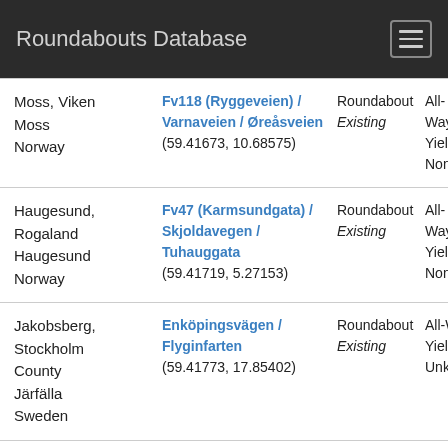Roundabouts Database
| Location | Name / Coordinates | Type | Control |  |
| --- | --- | --- | --- | --- |
| Moss, Viken
Moss
Norway | Fv118 (Ryggeveien) / Varnaveien / Øreåsveien
(59.41673, 10.68575) | Roundabout
Existing | All-Way
Yield
None | 4
0 |
| Haugesund,
Rogaland
Haugesund
Norway | Fv47 (Karmsundgata) / Skjoldavegen / Tuhauggata
(59.41719, 5.27153) | Roundabout
Existing | All-Way
Yield
None | 4
0 |
| Jakobsberg,
Stockholm County
Järfälla
Sweden | Enköpingsvägen / Flyginfarten
(59.41773, 17.85402) | Roundabout
Existing | All-Way
Yield
Unknown | 3
0
3 |
| Kista,
Stockholm | Esbogatan / Lahtisgatan | Roundabout
Existing | All-Way
Yield | 4 |